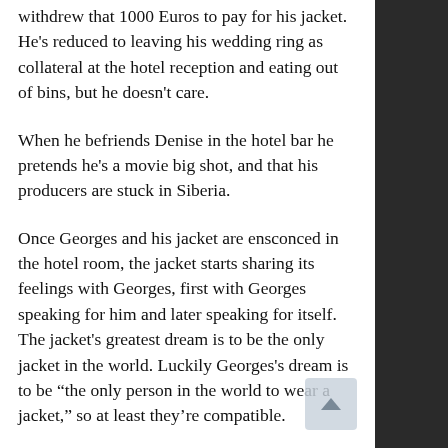withdrew that 1000 Euros to pay for his jacket. He's reduced to leaving his wedding ring as collateral at the hotel reception and eating out of bins, but he doesn't care.
When he befriends Denise in the hotel bar he pretends he's a movie big shot, and that his producers are stuck in Siberia.
Once Georges and his jacket are ensconced in the hotel room, the jacket starts sharing its feelings with Georges, first with Georges speaking for him and later speaking for itself. The jacket's greatest dream is to be the only jacket in the world. Luckily Georges's dream is to be “the only person in the world to wear a jacket,” so at least they’re compatible.
The hotel receptionist kills himself. Georges goes to the room where the man is laid out to steal back his gold wedding ring, and while in there also steals the dead man’s 100% deerskin hat.
He offers Denise the job of film editor, but demands she take